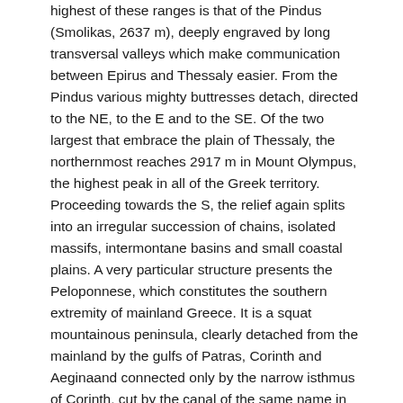highest of these ranges is that of the Pindus (Smolikas, 2637 m), deeply engraved by long transversal valleys which make communication between Epirus and Thessaly easier. From the Pindus various mighty buttresses detach, directed to the NE, to the E and to the SE. Of the two largest that embrace the plain of Thessaly, the northernmost reaches 2917 m in Mount Olympus, the highest peak in all of the Greek territory. Proceeding towards the S, the relief again splits into an irregular succession of chains, isolated massifs, intermontane basins and small coastal plains. A very particular structure presents the Peloponnese, which constitutes the southern extremity of mainland Greece. It is a squat mountainous peninsula, clearly detached from the mainland by the gulfs of Patras, Corinth and Aeginaand connected only by the narrow isthmus of Corinth, cut by the canal of the same name in 1893. It represents the direct continuation of the limestone reliefs of the Pindus and branches to the S in four rocky peninsulas, separated by the gulfs of Messenia, of Laconia and of Nafolia. Insular Greece, which represents